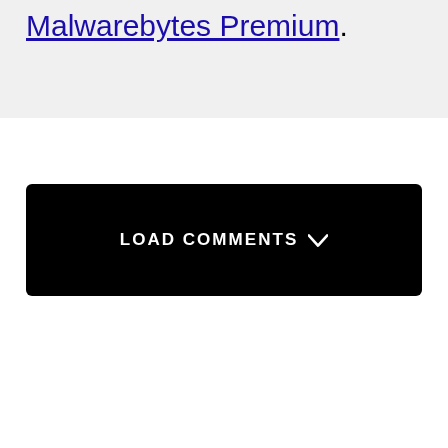Malwarebytes Premium.
LOAD COMMENTS